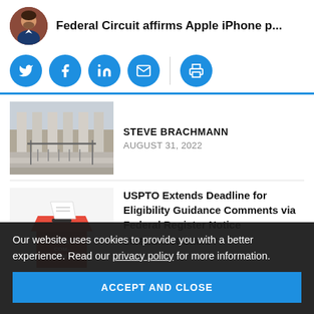Federal Circuit affirms Apple iPhone p...
[Figure (infographic): Social sharing icons: Twitter, Facebook, LinkedIn, Email, Print]
[Figure (photo): Photo of courthouse steps with metal railings]
STEVE BRACHMANN
AUGUST 31, 2022
USPTO Extends Deadline for Eligibility Guidance Comments via Federal Register Notice
EILEEN MCDERMOTT
Our website uses cookies to provide you with a better experience. Read our privacy policy for more information.
ACCEPT AND CLOSE